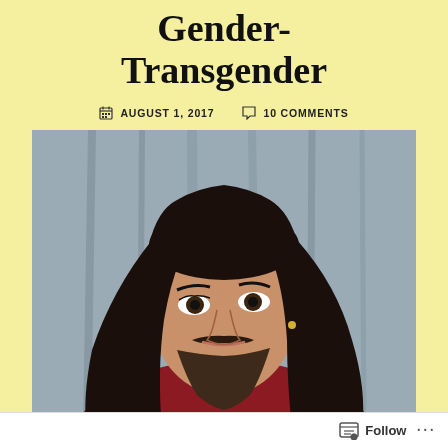Gender-Transgender
AUGUST 1, 2017   10 COMMENTS
[Figure (photo): Person with long dark hair, beard, wearing red, photographed against a grey curtain background.]
Follow ...